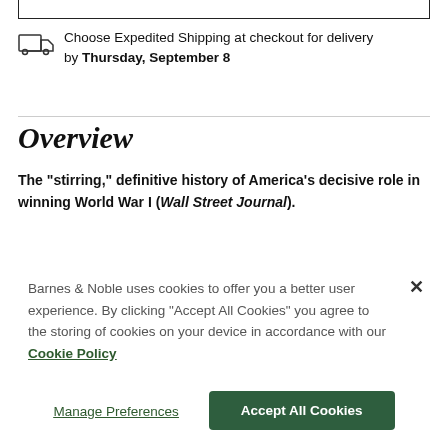Choose Expedited Shipping at checkout for delivery by Thursday, September 8
Overview
The "stirring," definitive history of America's decisive role in winning World War I (Wall Street Journal).
Barnes & Noble uses cookies to offer you a better user experience. By clicking "Accept All Cookies" you agree to the storing of cookies on your device in accordance with our Cookie Policy
Manage Preferences
Accept All Cookies